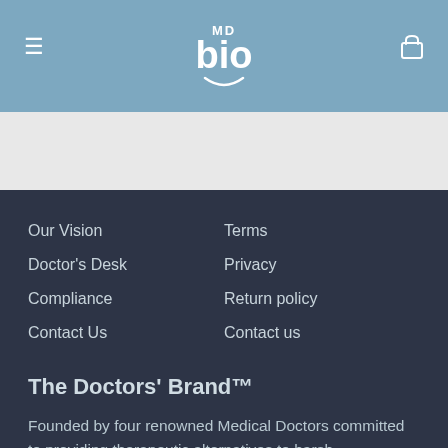[Figure (logo): MDbio logo with MD text above 'bio' in large font and a smile arc below, on a steel blue header background with hamburger menu icon on left and cart icon on right]
Our Vision
Doctor's Desk
Compliance
Contact Us
Terms
Privacy
Return policy
Contact us
The Doctors' Brand™
Founded by four renowned Medical Doctors committed to providing therapeutic alternatives to harsh pharmaceutical drugs, MDbio provides medical-grade, patient-tested Full Spectrum Hemp and plant-based wellness products that are unique in the industry for their